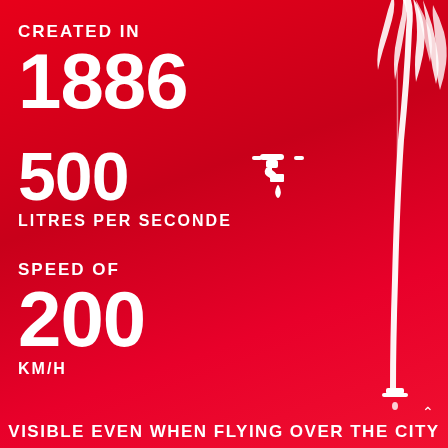CREATED IN
1886
500
LITRES PER SECONDE
SPEED OF
200
KM/H
[Figure (illustration): White silhouette illustration of a water fountain jet arching downward on the right side of the image]
VISIBLE EVEN WHEN FLYING OVER THE CITY